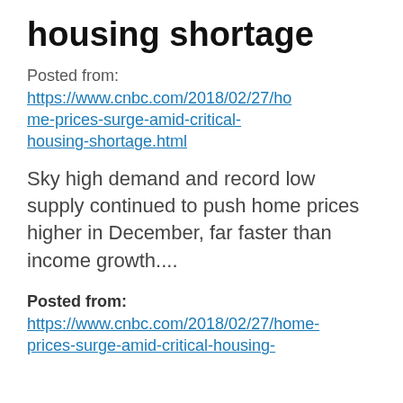housing shortage
Posted from:
https://www.cnbc.com/2018/02/27/home-prices-surge-amid-critical-housing-shortage.html
Sky high demand and record low supply continued to push home prices higher in December, far faster than income growth....
Posted from:
https://www.cnbc.com/2018/02/27/home-prices-surge-amid-critical-housing-